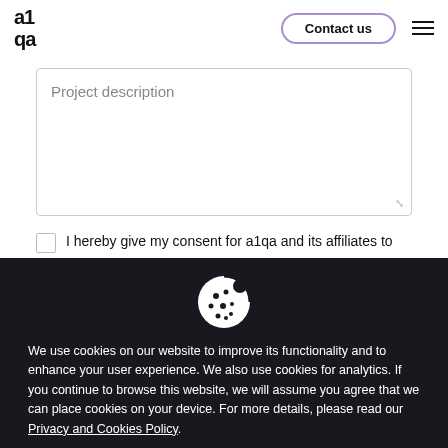[Figure (logo): a1qa logo in black bold text]
Contact us
Project description
I hereby give my consent for a1qa and its affiliates to
[Figure (illustration): Cookie icon - white cookie with dark spots on dark background]
We use cookies on our website to improve its functionality and to enhance your user experience. We also use cookies for analytics. If you continue to browse this website, we will assume you agree that we can place cookies on your device. For more details, please read our Privacy and Cookies Policy.
Accept